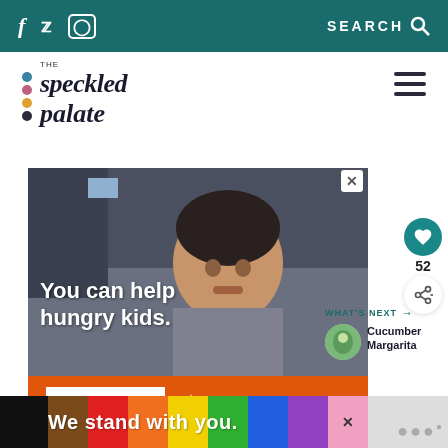Social icons: Facebook, Twitter, Instagram | SEARCH
[Figure (logo): The Speckled Palate logo with colorful dots and italic serif text]
[Figure (photo): Advertisement photo of a young boy eating, with text 'You can help hungry kids.' and orange CTA strip with LEARN HOW button and NO KID HUNGRY logo]
[Figure (photo): WHAT'S NEXT panel showing thumbnail of Cucumber Margarita recipe]
We stand with you.
52